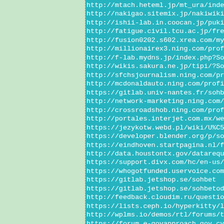http://mtach.heteml.jp/mt_ura/index.php?Sohbet
http://nakigao.sitemix.jp/nakiwiki/?Sohbet
http://ishii-lab.in.coocan.jp/pukiwiki/?Sohbet
http://fatigue.civil.tcu.ac.jp/free_database/
http://fusion0202.s602.xrea.com/mypukiwiki/in
http://millionairex3.ning.com/profiles/blogs/
http://f-lab.mydns.jp/index.php?Sohbet
http://wikis.sakura.ne.jp/tipi/?Sohbet
http://sfchsjournalism.ning.com/profiles/blog
http://mcdonaldauto.ning.com/profiles/blogs/
https://gitlab.univ-nantes.fr/sohbet
http://network-marketing.ning.com/profiles/bl
http://crossroadshob.ning.com/profiles/blogs/
http://portales.interjet.com.mx/web/sohbet
https://jezykotw.webd.pl/wiki/U%C5%BCytkownik
https://developer.blender.org/p/sohbet/
https://eindhoven.startpagina.nl/forum/topic/
http://data.houstontx.gov/datarequest/70a9d8b
https://support.divx.com/hc/en-us/community/p
https://whogotfunded.uservoice.com/forums/150
https://gitlab.jetshop.se/sohbet
https://gitlab.jetshop.se/sohbetodalari
http://feedback.cloudim.ru/question/details/
https://lists.ceph.io/hyperkitty/list/foo@ceph
http://wplms.io/demos/rtl/forums/topic/sohbet
https://forum.e-govapproach.gov.cv/index.php
http://forumcovid19.jatimprov.go.id/user/